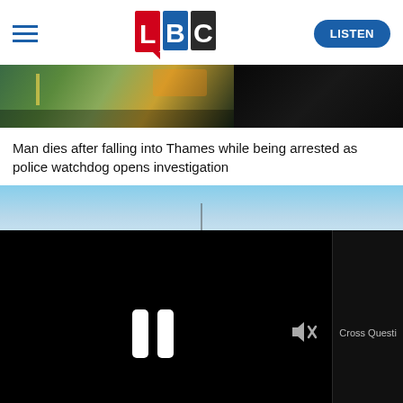LBC — LISTEN
[Figure (screenshot): News article thumbnail showing nighttime scene split into two images — left shows an illuminated street/pier area with green tones, right is very dark]
Man dies after falling into Thames while being arrested as police watchdog opens investigation
[Figure (photo): Blue sky with faint silhouette of a structure, partial daylight outdoor scene]
[Figure (screenshot): Video player paused on a black screen showing pause icon (two white rounded bars) and mute icon (speaker with X). Right sidebar shows partial text 'Cross Questi' against a dark background. Progress bar at bottom mostly filled.]